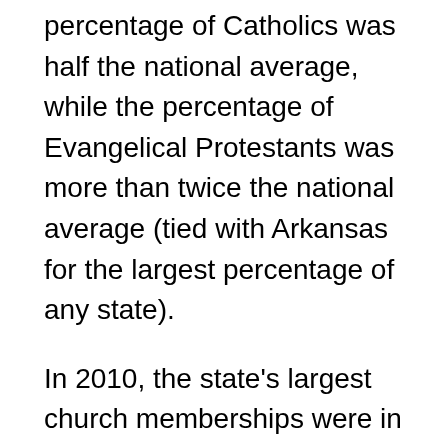percentage of Catholics was half the national average, while the percentage of Evangelical Protestants was more than twice the national average (tied with Arkansas for the largest percentage of any state).
In 2010, the state's largest church memberships were in the Southern Baptist Convention (886,394 members), the United Methodist Church (282,347), the Roman Catholic Church (178,430), and the Assemblies of God (85,926) and The Church of Jesus Christ of Latter-day Saints (Mormons) (47,349). Other religions represented in the state include